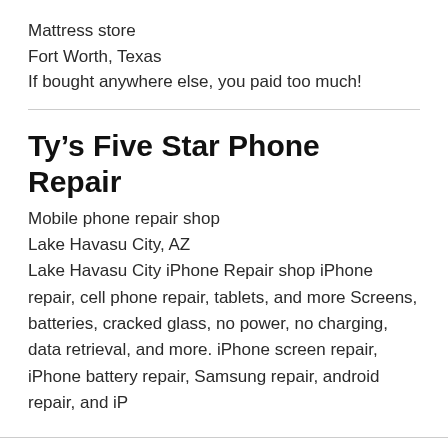Mattress store
Fort Worth, Texas
If bought anywhere else, you paid too much!
Ty's Five Star Phone Repair
Mobile phone repair shop
Lake Havasu City, AZ
Lake Havasu City iPhone Repair shop iPhone repair, cell phone repair, tablets, and more Screens, batteries, cracked glass, no power, no charging, data retrieval, and more. iPhone screen repair, iPhone battery repair, Samsung repair, android repair, and iP